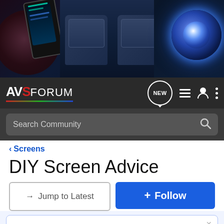[Figure (screenshot): AVS Forum website banner showing home theater equipment — a subwoofer speaker on the left, luxury theater seats in the center, and a projector lens on the right, all with dark blue lighting.]
[Figure (screenshot): AVS Forum navigation bar with logo, NEW chat bubble, menu lines, user icon, and vertical dots icon, plus a Search Community input bar.]
< Screens
DIY Screen Advice
→ Jump to Latest
+ Follow
LIVE: Tech Talk Podcast with Scott Wilkinson, Episode 8 Click here for details.